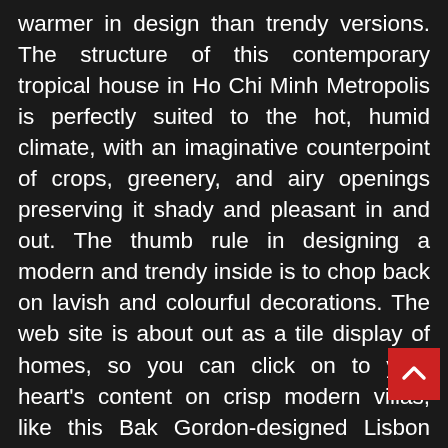warmer in design than trendy versions. The structure of this contemporary tropical house in Ho Chi Minh Metropolis is perfectly suited to the hot, humid climate, with an imaginative counterpoint of crops, greenery, and airy openings preserving it shady and pleasant in and out. The thumb rule in designing a modern and trendy inside is to chop back on lavish and colourful decorations. The web site is about out as a tile display of homes, so you can click on to your heart's content on crisp modern villas, like this Bak Gordon-designed Lisbon hideaway , and coastal properties close to nature. HOME IMPROVEMENT Not Resulting In Financial Prosperity. On our website, it is simple to seek out designs for every room in your home, whether or not it's the living room, eating room, bedrooms, kitchen and bogs, or other areas similar to gardens, balconies, swimming swimming pools, sheds and garages Whenever you see an ideabook